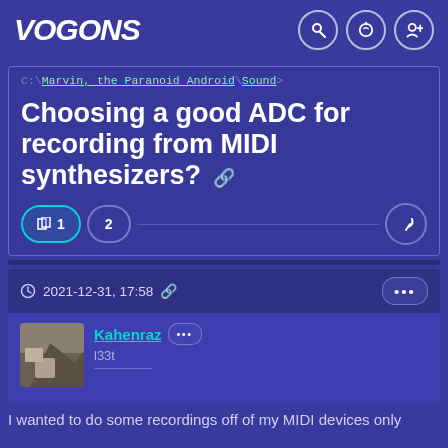VOGONS
C:\Marvin, the Paranoid Android\Sound>
Choosing a good ADC for recording from MIDI synthesizers?
2021-12-31, 17:58
Kahenraz
l33t
I wanted to do some recordings off of my MIDI devices only